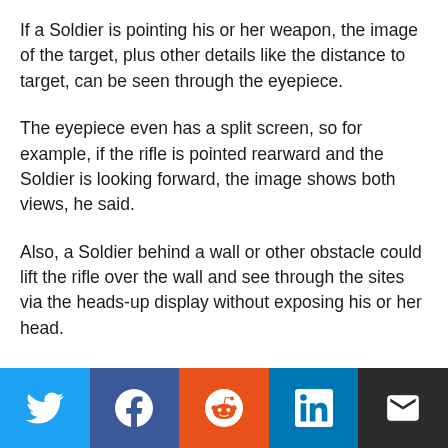If a Soldier is pointing his or her weapon, the image of the target, plus other details like the distance to target, can be seen through the eyepiece.
The eyepiece even has a split screen, so for example, if the rifle is pointed rearward and the Soldier is looking forward, the image shows both views, he said.
Also, a Soldier behind a wall or other obstacle could lift the rifle over the wall and see through the sites via the heads-up display without exposing his or her head.
[Figure (infographic): Social sharing button bar with icons for Twitter (blue), Facebook (dark blue), Reddit (orange), LinkedIn (blue), and Email (dark gray)]